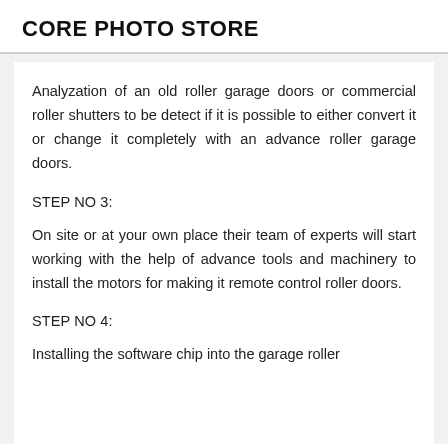CORE PHOTO STORE
Analyzation of an old roller garage doors or commercial roller shutters to be detect if it is possible to either convert it or change it completely with an advance roller garage doors.
STEP NO 3:
On site or at your own place their team of experts will start working with the help of advance tools and machinery to install the motors for making it remote control roller doors.
STEP NO 4:
Installing the software chip into the garage roller